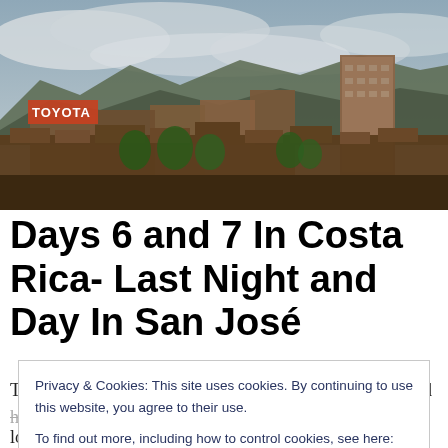[Figure (photo): Aerial/elevated cityscape view of San José, Costa Rica, showing dense urban buildings with mountains in the background and cloudy sky. A Toyota sign is visible on a building.]
Days 6 and 7 In Costa Rica- Last Night and Day In San José
This morning we left the Cloud Forest of Monteverde, and headed back towards San José to spend our last full day
Privacy & Cookies: This site uses cookies. By continuing to use this website, you agree to their use.
To find out more, including how to control cookies, see here: Cookie Policy
looking birds too. We stopped at a local snack and